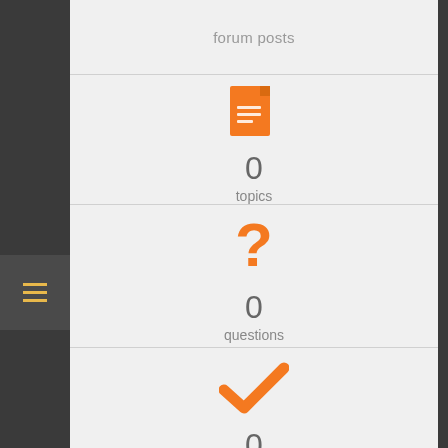forum posts
[Figure (illustration): Orange document/file icon]
0
topics
[Figure (illustration): Orange question mark icon]
0
questions
[Figure (illustration): Orange checkmark icon]
0
answers
[Figure (illustration): Orange circular icon, partially visible at bottom]